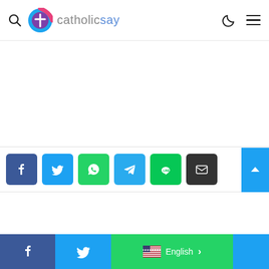catholicsay
[Figure (screenshot): catholicsay website header with logo, search icon, dark mode toggle, and hamburger menu]
[Figure (infographic): Social share buttons: Facebook, Twitter, WhatsApp, Telegram, Line, Email]
Facebook | Twitter | English >